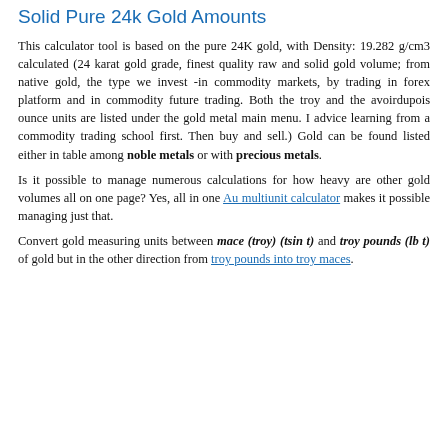Solid Pure 24k Gold Amounts
This calculator tool is based on the pure 24K gold, with Density: 19.282 g/cm3 calculated (24 karat gold grade, finest quality raw and solid gold volume; from native gold, the type we invest -in commodity markets, by trading in forex platform and in commodity future trading. Both the troy and the avoirdupois ounce units are listed under the gold metal main menu. I advice learning from a commodity trading school first. Then buy and sell.) Gold can be found listed either in table among noble metals or with precious metals.
Is it possible to manage numerous calculations for how heavy are other gold volumes all on one page? Yes, all in one Au multiunit calculator makes it possible managing just that.
Convert gold measuring units between mace (troy) (tsin t) and troy pounds (lb t) of gold but in the other direction from troy pounds into troy maces.